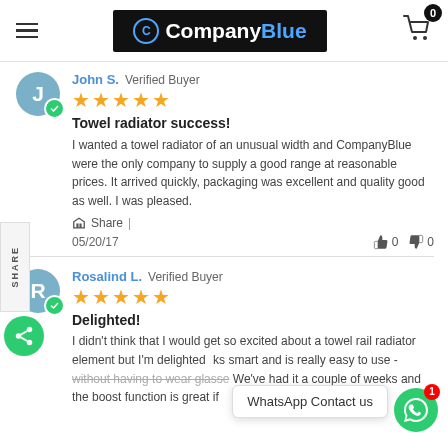CompanyBlue — navigation header with cart (0)
John S. Verified Buyer ★★★★★
Towel radiator success!
I wanted a towel radiator of an unusual width and CompanyBlue were the only company to supply a good range at reasonable prices. It arrived quickly, packaging was excellent and quality good as well. I was pleased.
Share | 05/20/17  👍 0  👎 0
Rosalind L. Verified Buyer ★★★★★
Delighted!
I didn't think that I would get so excited about a towel rail radiator element but I'm delighted ... smart and is really easy to use - without having to wear glasses! We've had it a couple of weeks and the boost function is great if